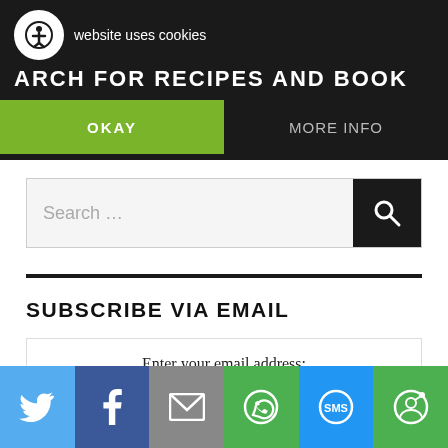This website uses cookies
SEARCH FOR RECIPES AND BOOK
OKAY
MORE INFO
Search ...
SUBSCRIBE VIA EMAIL
Enter your email address:
[Figure (screenshot): Email input field (empty text box)]
[Figure (infographic): Social share bar with Twitter, Facebook, Email, WhatsApp, SMS, and More icons]